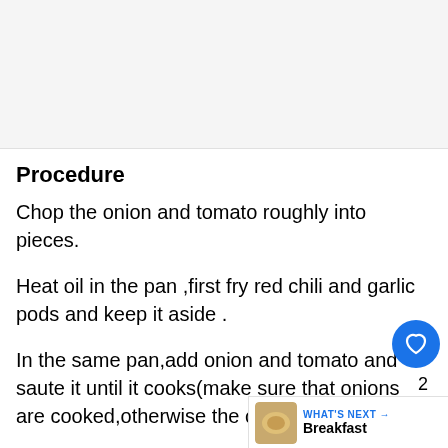[Figure (photo): Image placeholder area at the top of the page, light gray background]
Procedure
Chop the onion and tomato roughly into pieces.
Heat oil in the pan ,first fry red chili and garlic pods and keep it aside .
In the same pan,add onion and tomato and saute it until it cooks(make sure that onions are cooked,otherwise the chutney will be bitte